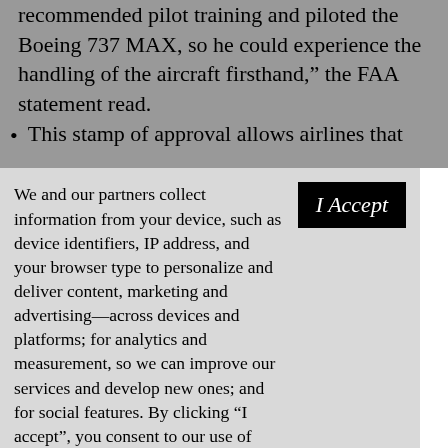recommended pilot training and piloted the Boeing 737 MAX, so he could experience the handling of the aircraft firsthand,” the FAA statement read.
This stamp of approval allows airlines that
We and our partners collect information from your device, such as device identifiers, IP address, and your browser type to personalize and deliver content, marketing and advertising—across devices and platforms; for analytics and measurement, so we can improve our services and develop new ones; and for social features. By clicking “I accept”, you consent to our use of these Cookies. Visit our Privacy Policy to learn more.
I Accept
YOUR USE OF THIS SITE SIGNIFIES YOUR AGREEMENT TO THIS PRIVACY POLICY.